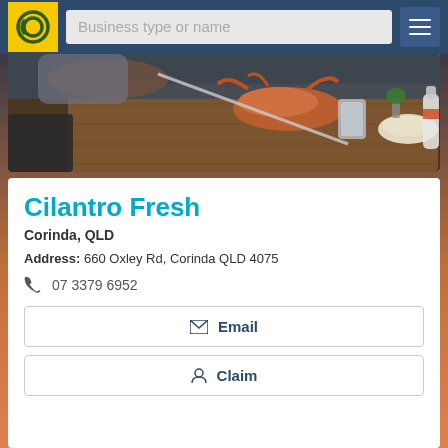Business type or name
[Figure (photo): Restaurant food photo showing a person handling food at a wooden table with dishes and a beer bottle]
Cilantro Fresh
Corinda, QLD
Address: 660 Oxley Rd, Corinda QLD 4075
07 3379 6952
Email
Claim